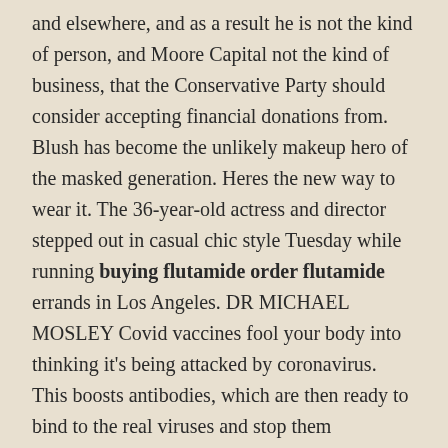and elsewhere, and as a result he is not the kind of person, and Moore Capital not the kind of business, that the Conservative Party should consider accepting financial donations from. Blush has become the unlikely makeup hero of the masked generation. Heres the new way to wear it. The 36-year-old actress and director stepped out in casual chic style Tuesday while running buying flutamide order flutamide errands in Los Angeles. DR MICHAEL MOSLEY Covid vaccines fool your body into thinking it's being attacked by coronavirus. This boosts antibodies, which are then ready to bind to the real viruses and stop them spreading. Aaron Heather was having a drug-induced psychotic episode when he grabbed NSW Sergeant Rachael Robins by the ponytail and kneed her four times in the head and punched her twice in the face. The This Morning team will have cause for celebration this week as it's been reported that the show has scored it's highest ratings in 19 years. Attorney David Schoen was reacting to the first piece of evidence